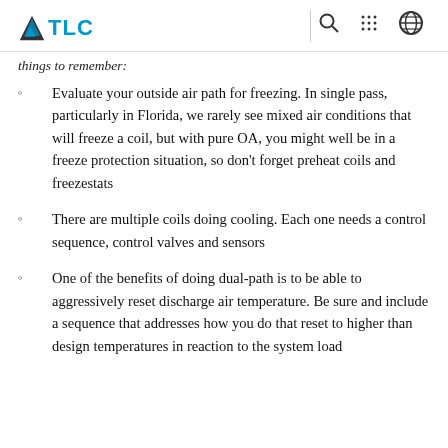TLC
things to remember:
Evaluate your outside air path for freezing. In single pass, particularly in Florida, we rarely see mixed air conditions that will freeze a coil, but with pure OA, you might well be in a freeze protection situation, so don't forget preheat coils and freezestats
There are multiple coils doing cooling. Each one needs a control sequence, control valves and sensors
One of the benefits of doing dual-path is to be able to aggressively reset discharge air temperature. Be sure and include a sequence that addresses how you do that reset to higher than design temperatures in reaction to the system load